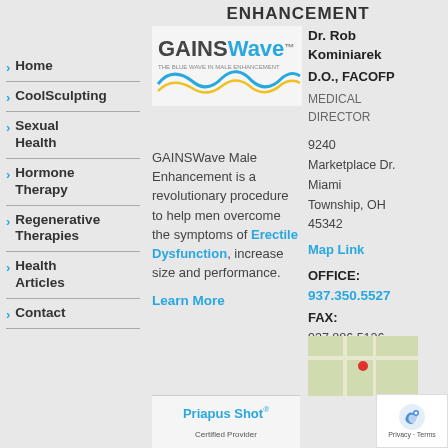ENHANCEMENT
Home
CoolSculpting
Sexual Health
Hormone Therapy
Regenerative Therapies
Health Articles
Contact
[Figure (logo): GAINSWave logo with blue wave design and tagline]
GAINSWave Male Enhancement is a revolutionary procedure to help men overcome the symptoms of Erectile Dysfunction, increase size and performance.
Learn More
[Figure (logo): Priapus Shot Certified Provider logo]
Dr. Rob Kominiarek D.O., FACOFP MEDICAL DIRECTOR
9240 Marketplace Dr. Miami Township, OH 45342
Map Link
OFFICE: 937.350.5527 FAX: 937.886.5126